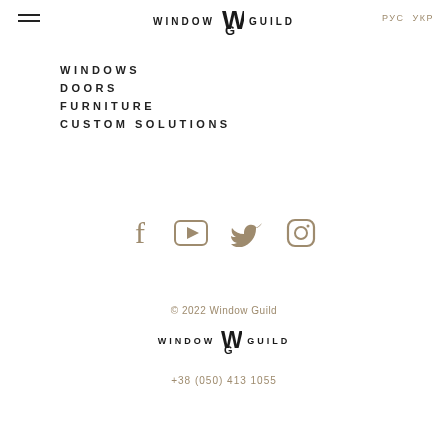WINDOW GUILD | РУС УКР
WINDOWS
DOORS
FURNITURE
CUSTOM SOLUTIONS
[Figure (infographic): Social media icons: Facebook, YouTube, Twitter, Instagram in tan/brown color]
© 2022 Window Guild
[Figure (logo): Window Guild logo with stylized WG monogram]
+38 (050) 413 1055